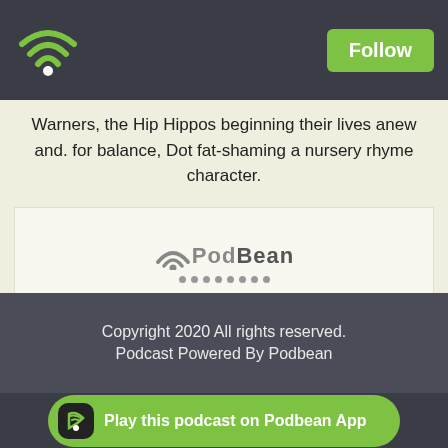[Figure (logo): Podbean app wifi/radio icon in top-left of dark header bar]
Follow
Warners, the Hip Hippos beginning their lives anew and. for balance, Dot fat-shaming a nursery rhyme character.
[Figure (logo): PodBean embedded audio player with logo and dots]
Likes  Share  Download(67)
- Older Episodes »
Copyright 2020 All rights reserved.
Podcast Powered By Podbean
Play this podcast on Podbean App